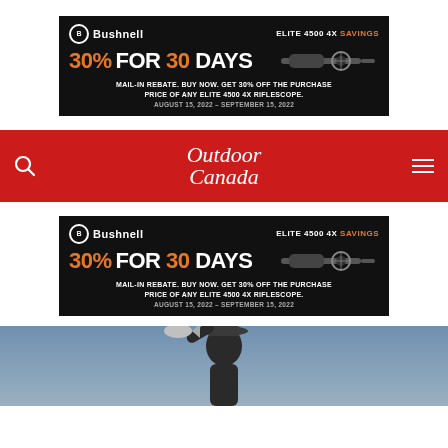[Figure (infographic): Bushnell Elite 4500 4X Savings advertisement banner. Black background. Logo top left. Orange and white text: 30% FOR 30 DAYS. Mail-in rebate offer. August 15, 2022 – September 15, 2022. Riflescope image on right.]
[Figure (logo): Outdoor Canada magazine navigation bar logo on red background with search icon and hamburger menu.]
[Figure (infographic): Bushnell Elite 4500 4X Savings advertisement banner (repeat). Black background. Orange and white text: 30% FOR 30 DAYS. Mail-in rebate offer. August 15, 2022 – September 15, 2022.]
[Figure (photo): Partial photo at bottom of page showing a smiling person holding a fish, with sky in background.]